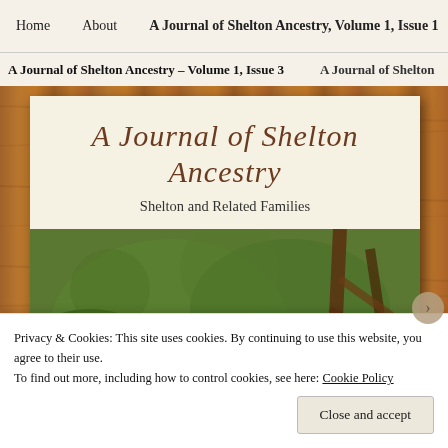Home   About   A Journal of Shelton Ancestry, Volume 1, Issue 1   A J
A Journal of Shelton Ancestry – Volume 1, Issue 3   A Journal of Shelton
A Journal of Shelton Ancestry
Shelton and Related Families
[Figure (photo): Outdoor photograph showing green vegetation, grass, brick structure, and wooden fence/branches in background]
Privacy & Cookies: This site uses cookies. By continuing to use this website, you agree to their use.
To find out more, including how to control cookies, see here: Cookie Policy
Close and accept